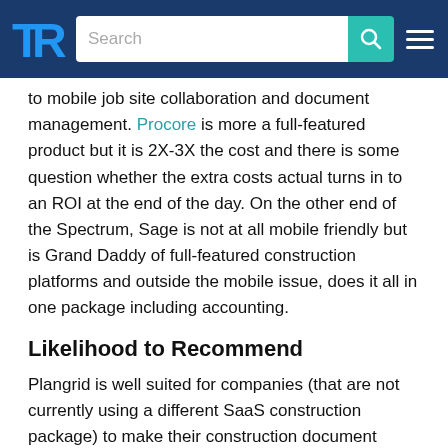TrustRadius — Search navigation header
to mobile job site collaboration and document management. Procore is more a full-featured product but it is 2X-3X the cost and there is some question whether the extra costs actual turns in to an ROI at the end of the day. On the other end of the Spectrum, Sage is not at all mobile friendly but is Grand Daddy of full-featured construction platforms and outside the mobile issue, does it all in one package including accounting.
Likelihood to Recommend
Plangrid is well suited for companies (that are not currently using a different SaaS construction package) to make their construction document management more collaborative and mobile friendly. Companies requiring/wanting their subs and owners to collaborate